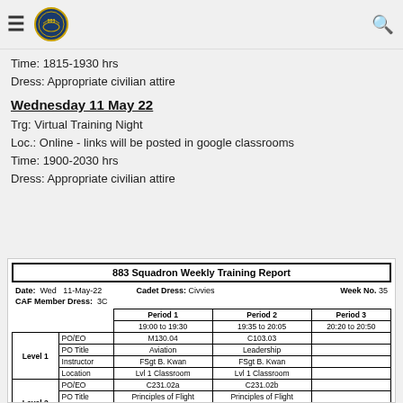883 Squadron (navigation/logo bar)
Time: 1815-1930 hrs
Dress: Appropriate civilian attire
Wednesday 11 May 22
Trg: Virtual Training Night
Loc.: Online - links will be posted in google classrooms
Time: 1900-2030 hrs
Dress: Appropriate civilian attire
[Figure (table-as-image): 883 Squadron Weekly Training Report table showing training periods, levels 1-3, PO/EO codes, PO Titles, Instructors and Locations for Wed 11-May-22, Week No. 35]
|  |  | Period 1
19:00 to 19:30 | Period 2
19:35 to 20:05 | Period 3
20:20 to 20:50 |
| --- | --- | --- | --- | --- |
| Level 1 | PO/EO | M130.04 | C103.03 |  |
| Level 1 | PO Title | Aviation | Leadership |  |
| Level 1 | Instructor | FSgt B. Kwan | FSgt B. Kwan |  |
| Level 1 | Location | Lvl 1 Classroom | Lvl 1 Classroom |  |
| Level 2 | PO/EO | C231.02a | C231.02b |  |
| Level 2 | PO Title | Principles of Flight | Principles of Flight |  |
| Level 2 | Instructor | FSgt V. Zhao | FSgt R. Theya |  |
| Level 2 | Location | Lvl 2 Classroom | Lvl 2 Classroom |  |
| Level 3 | PO/EO | M370.03 | C370.01 |  |
| Level 3 | PO Title | AC Mfg & Maint | AC Mfg & Maint |  |
| Level 3 | Instructor | FSgt V. Yip | FSgt M. Salvas |  |